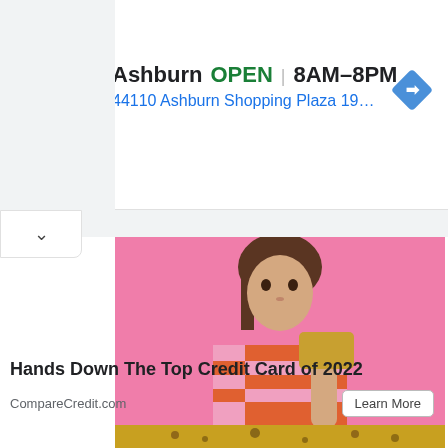[Figure (screenshot): HC logo on yellow background]
Ashburn  OPEN | 8AM–8PM
44110 Ashburn Shopping Plaza 190, A...
[Figure (photo): Woman in orange and pink striped shirt holding a gold credit card against a pink background]
Hands Down The Top Credit Card of 2022
CompareCredit.com
Learn More
[Figure (photo): Close-up of a gold glittery object held by fingers]